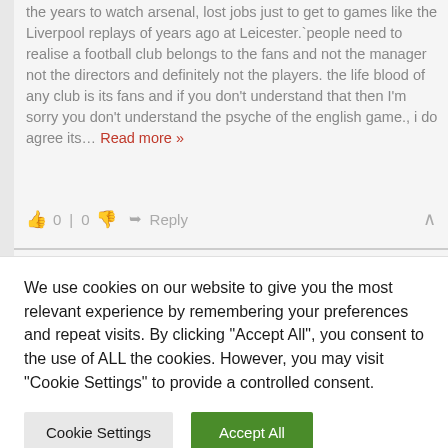the years to watch arsenal, lost jobs just to get to games like the Liverpool replays of years ago at Leicester.`people need to realise a football club belongs to the fans and not the manager not the directors and definitely not the players. the life blood of any club is its fans and if you don't understand that then I'm sorry you don't understand the psyche of the english game., i do agree its… Read more »
👍 0 | 0 👎  ➥ Reply  ∧
We use cookies on our website to give you the most relevant experience by remembering your preferences and repeat visits. By clicking "Accept All", you consent to the use of ALL the cookies. However, you may visit "Cookie Settings" to provide a controlled consent.
Cookie Settings
Accept All